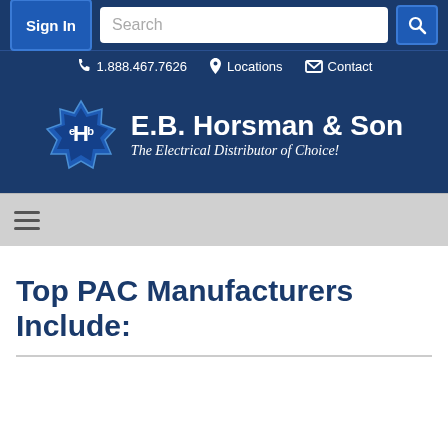Sign In | Search | 1.888.467.7626 | Locations | Contact
[Figure (logo): E.B. Horsman & Son logo with badge icon and tagline 'The Electrical Distributor of Choice!']
Top PAC Manufacturers Include: